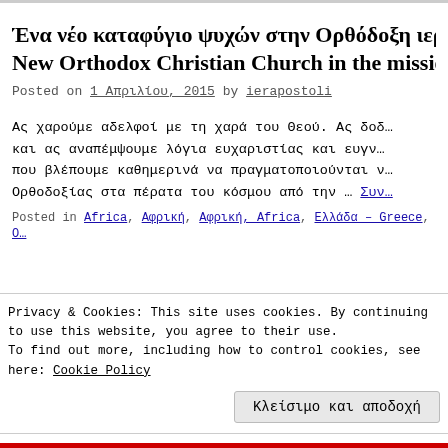Ένα νέο καταφύγιο ψυχών στην Ορθόδοξη ιερατ… New Orthodox Christian Church in the mission…
Posted on 1 Απριλίου, 2015 by ierapostoli
Ας χαρούμε αδελφοί με τη χαρά του Θεού. Ας δοδ… και ας αναπέμψουμε λόγια ευχαριστίας και ευγν… που βλέπουμε καθημερινά να πραγματοποιούνται… Ορθοδοξίας στα πέρατα του κόσμου από την … Συν…
Posted in Africa, Αφρική, Αφρική, Africa, Ελλάδα – Greece,…
Privacy & Cookies: This site uses cookies. By continuing to use this website, you agree to their use. To find out more, including how to control cookies, see here: Cookie Policy
Κλείσιμο και αποδοχή